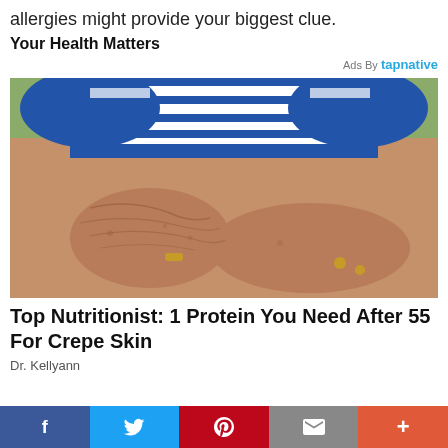allergies might provide your biggest clue.
Your Health Matters
Ads By tapnative
[Figure (photo): Close-up photo of elderly person's arms showing crepe/wrinkled skin, wearing a blue and white striped shirt, with gold rings on fingers, resting on a surface.]
Top Nutritionist: 1 Protein You Need After 55 For Crepe Skin
Dr. Kellyann
[Figure (infographic): Social media sharing buttons: Facebook (blue), Twitter (light blue), Pinterest (red), Email (grey), Plus/More (orange-red)]